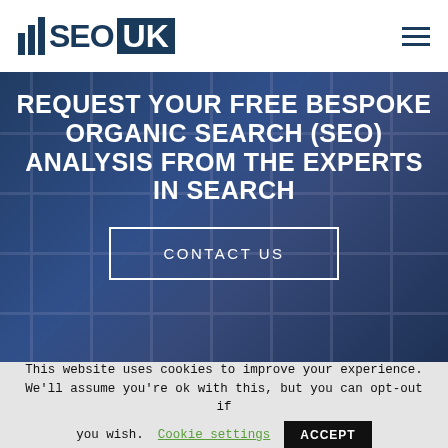SEO UK
REQUEST YOUR FREE BESPOKE ORGANIC SEARCH (SEO) ANALYSIS FROM THE EXPERTS IN SEARCH
CONTACT US
This website uses cookies to improve your experience. We'll assume you're ok with this, but you can opt-out if you wish. Cookie settings ACCEPT